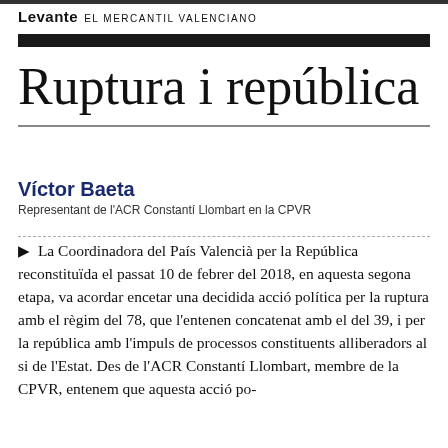Levante EL MERCANTIL VALENCIANO
Ruptura i república
Víctor Baeta
Representant de l'ACR Constantí Llombart en la CPVR
▶ La Coordinadora del País Valencià per la República reconstituïda el passat 10 de febrer del 2018, en aquesta segona etapa, va acordar encetar una decidida acció política per la ruptura amb el règim del 78, que l'entenen concatenat amb el del 39, i per la república amb l'impuls de processos constituents alliberadors al si de l'Estat. Des de l'ACR Constantí Llombart, membre de la CPVR, entenem que aquesta acció po-